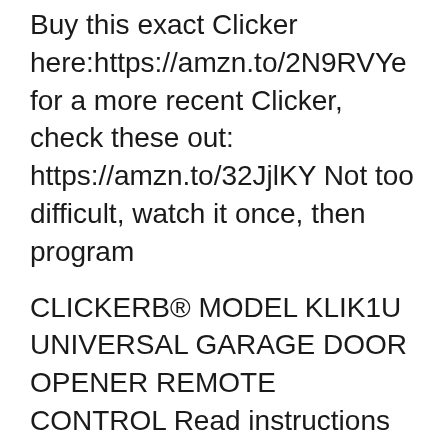Buy this exact Clicker here:https://amzn.to/2N9RVYe for a more recent Clicker, check these out: https://amzn.to/32JjlKY Not too difficult, watch it once, then program
CLICKERB® MODEL KLIK1U UNIVERSAL GARAGE DOOR OPENER REMOTE CONTROL Read instructions thoroughly BEFORE beginning. Start with garage door closed. Identify garage door opener type - Smart/Learn button or DIP Switch. Smart/Learn button or DIP Switches are located on motor unit or external receiver. Refer to ownerвЂ™s manual if necessary. UNIVERSAL GARAGE DOOR OPENER WIRELESS KEYLESS ENTRY Read instructions...